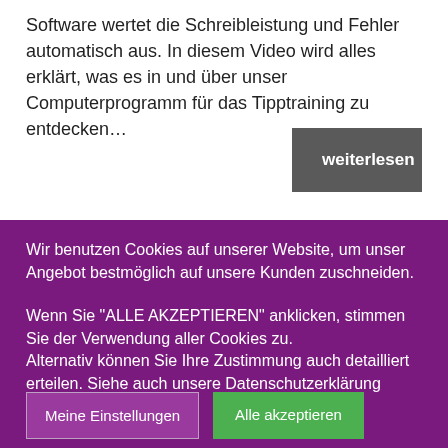Software wertet die Schreibleistung und Fehler automatisch aus. In diesem Video wird alles erklärt, was es in und über unser Computerprogramm für das Tipptraining zu entdecken…
weiterlesen
Wir benutzen Cookies auf unserer Website, um unser Angebot bestmöglich auf unsere Kunden zuschneiden.
Wenn Sie "ALLE AKZEPTIEREN" anklicken, stimmen Sie der Verwendung aller Cookies zu. Alternativ können Sie Ihre Zustimmung auch detailliert erteilen. Siehe auch unsere Datenschutzerklärung
Meine Einstellungen
Alle akzeptieren